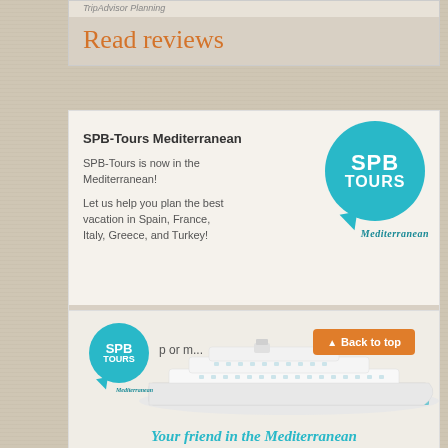TripAdvisor Planning
Read reviews
SPB-Tours Mediterranean
SPB-Tours is now in the Mediterranean!

Let us help you plan the best vacation in Spain, France, Italy, Greece, and Turkey!
[Figure (logo): SPB TOURS Mediterranean speech bubble logo in teal/cyan color]
SPB-Mediterranean
[Figure (photo): Large cruise ship photo with SPB Tours Mediterranean logo overlay, Back to top button, and partial text. Bottom text reads: Your friend in the Mediterranean]